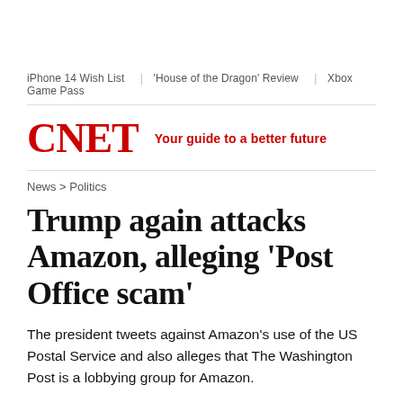iPhone 14 Wish List | 'House of the Dragon' Review | Xbox Game Pass
CNET — Your guide to a better future
News > Politics
Trump again attacks Amazon, alleging 'Post Office scam'
The president tweets against Amazon's use of the US Postal Service and also alleges that The Washington Post is a lobbying group for Amazon.